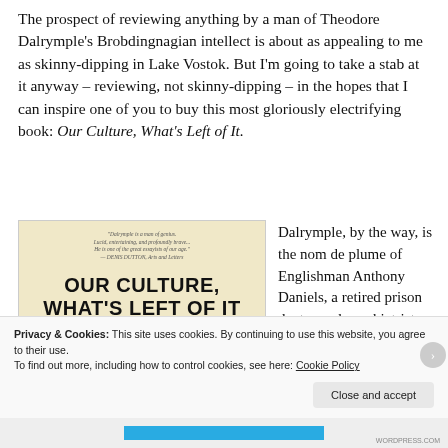The prospect of reviewing anything by a man of Theodore Dalrymple's Brobdingnagian intellect is about as appealing to me as skinny-dipping in Lake Vostok. But I'm going to take a stab at it anyway – reviewing, not skinny-dipping – in the hopes that I can inspire one of you to buy this most gloriously electrifying book: Our Culture, What's Left of It.
[Figure (photo): Book cover of 'Our Culture, What's Left of It: The Mandarins and the Masses' with a beige/cream background and bold black title text]
Dalrymple, by the way, is the nom de plume of Englishman Anthony Daniels, a retired prison doctor and psychiatrist. His
Privacy & Cookies: This site uses cookies. By continuing to use this website, you agree to their use.
To find out more, including how to control cookies, see here: Cookie Policy
Close and accept